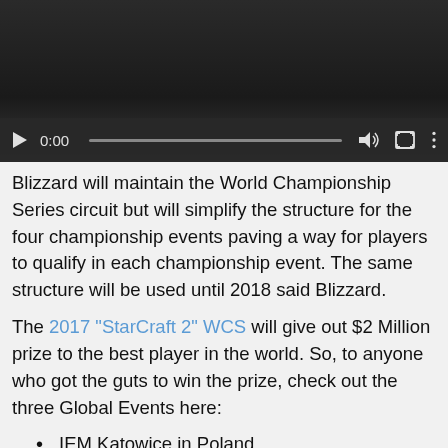[Figure (other): Embedded video player with dark background, play button, time display '0:00', progress bar, volume icon, fullscreen icon, and more options icon]
Blizzard will maintain the World Championship Series circuit but will simplify the structure for the four championship events paving a way for players to qualify in each championship event. The same structure will be used until 2018 said Blizzard.
The 2017 "StarCraft 2" WCS will give out $2 Million prize to the best player in the world. So, to anyone who got the guts to win the prize, check out the three Global Events here:
IEM Katowice in Poland
This is the earliest event and a perfect opportunity for Korean and Circuit players to size up and compete with others. A paid